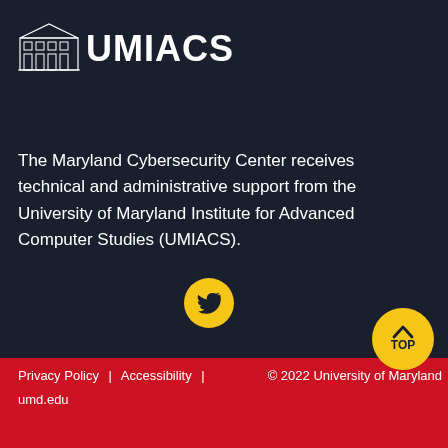[Figure (logo): UMIACS logo with building illustration and white text UMIACS on dark navy background]
The Maryland Cybersecurity Center receives technical and administrative support from the University of Maryland Institute for Advanced Computer Studies (UMIACS).
[Figure (illustration): Yellow circular Twitter bird icon button]
[Figure (illustration): Yellow circular TOP button with up chevron arrow]
Privacy Policy | Accessibility | umd.edu   © 2022 University of Maryland